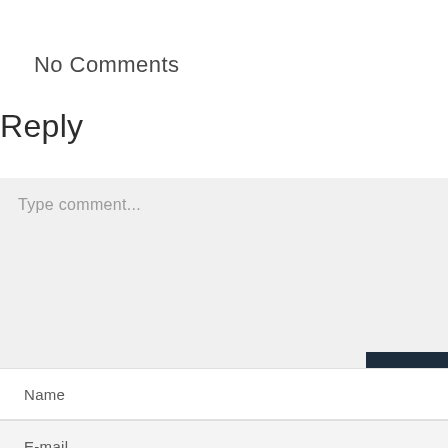No Comments
Reply
Type comment...
Name
E-mail